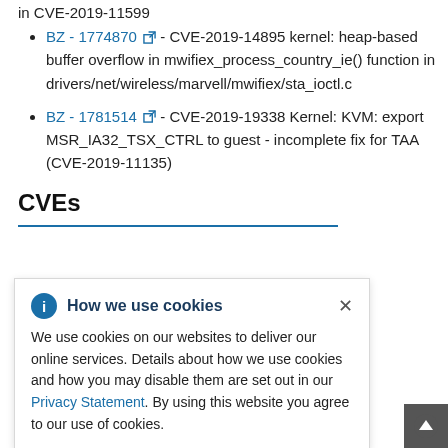BZ - 1774870 - CVE-2019-14895 kernel: heap-based buffer overflow in mwifiex_process_country_ie() function in drivers/net/wireless/marvell/mwifiex/sta_ioctl.c
BZ - 1781514 - CVE-2019-19338 Kernel: KVM: export MSR_IA32_TSX_CTRL to guest - incomplete fix for TAA (CVE-2019-11135)
CVEs
How we use cookies
We use cookies on our websites to deliver our online services. Details about how we use cookies and how you may disable them are set out in our Privacy Statement. By using this website you agree to our use of cookies.